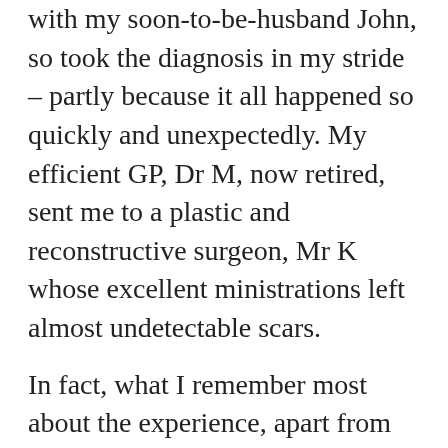with my soon-to-be-husband John, so took the diagnosis in my stride – partly because it all happened so quickly and unexpectedly. My efficient GP, Dr M, now retired,  sent me to a plastic and reconstructive surgeon, Mr K whose excellent ministrations left almost undetectable scars.
In fact, what I remember most about the experience, apart from relief it wasn't melanoma, was the follow-up visit, to give the 'all-clear'. The surgeon showed me a photographic album of reconstructed noses. He offered a discount saying, 'I can make you beautiful, you don't have to go through life looking like that...'
Well, what could I say?
I refused his offer, of course, John and I being